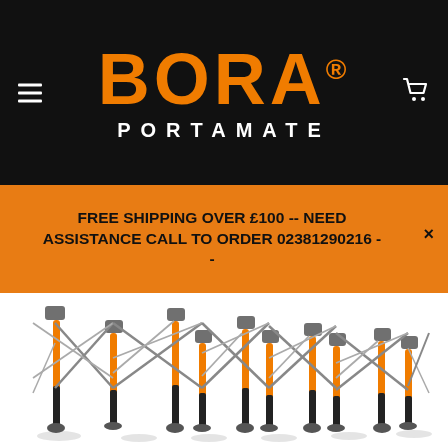[Figure (logo): BORA PORTAMATE logo: orange bold text 'BORA' with registered trademark symbol, white uppercase 'PORTAMATE' text below, on black background]
FREE SHIPPING OVER £100 -- NEED ASSISTANCE CALL TO ORDER 02381290216 - × -
[Figure (photo): Product photo of a BORA Portamate expandable work support stand with orange and black legs, gray diagonal cross-bracing arms and gray hub connectors, shown extended wide on white background]